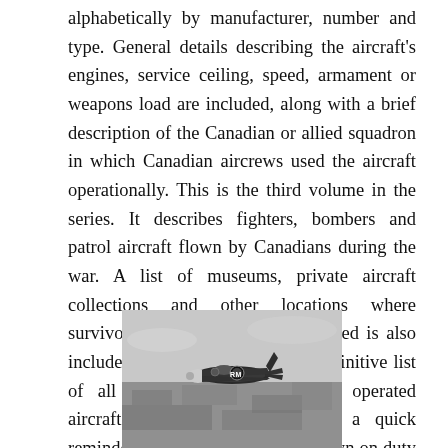alphabetically by manufacturer, number and type. General details describing the aircraft's engines, service ceiling, speed, armament or weapons load are included, along with a brief description of the Canadian or allied squadron in which Canadian aircrews used the aircraft operationally. This is the third volume in the series. It describes fighters, bombers and patrol aircraft flown by Canadians during the war. A list of museums, private aircraft collections and other locations where survivors are preserved and displayed is also included. The handbook is not a definitive list of all Canadian-manufactured or operated aircraft, but it should serve as a quick reminder of the major examples flown on duty for anyone with an interest in Canadian military aviation.
[Figure (photo): Black and white aerial photograph of a WWII-era fighter aircraft (appears to be a Spitfire or similar) with markings including letters 'RM' visible on fuselage, flying over landscape below.]